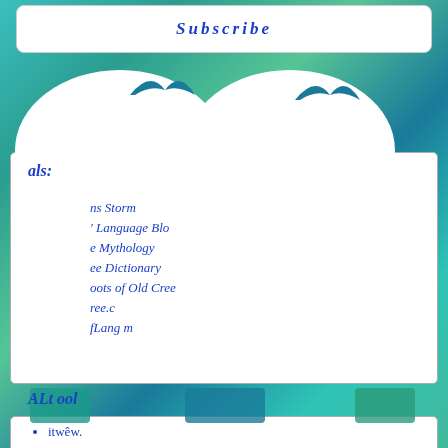Subscribe
als:
ns Storm
Language Blo
e Mythology
ee Dictionary
oots of Old Cree
ree.c
fLang m
ALt ol
itwêw.
Cree SRO ool
Teaching Videos: Alberta Language Technology Laboratory